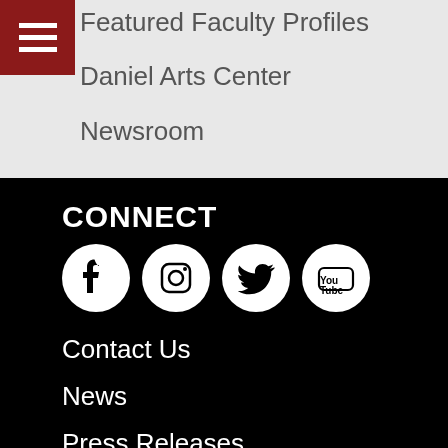Featured Faculty Profiles
Daniel Arts Center
Newsroom
CONNECT
[Figure (other): Social media icons: Facebook, Instagram, Twitter, YouTube]
Contact Us
News
Press Releases
Give Now
Campus Store